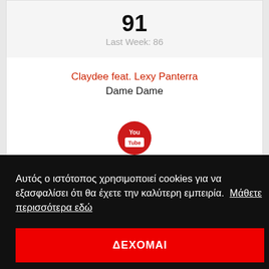91
Last Week: 86
Claydee feat. Lexy Panterra
Dame Dame
[Figure (logo): YouTube red circle logo button]
Αυτός ο ιστότοπος χρησιμοποιεί cookies για να εξασφαλίσει ότι θα έχετε την καλύτερη εμπειρία. Μάθετε περισσότερα εδώ
ΔΕΧΟΜΑΙ